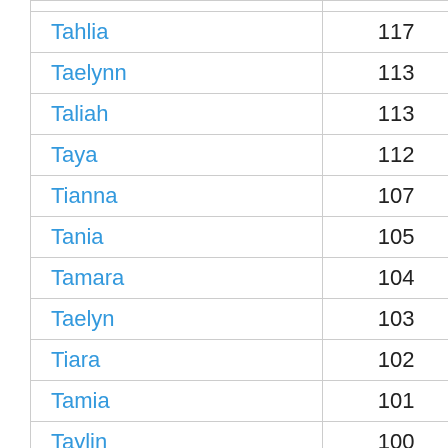| Tahlia | 117 |
| Taelynn | 113 |
| Taliah | 113 |
| Taya | 112 |
| Tianna | 107 |
| Tania | 105 |
| Tamara | 104 |
| Taelyn | 103 |
| Tiara | 102 |
| Tamia | 101 |
| Taylin | 100 |